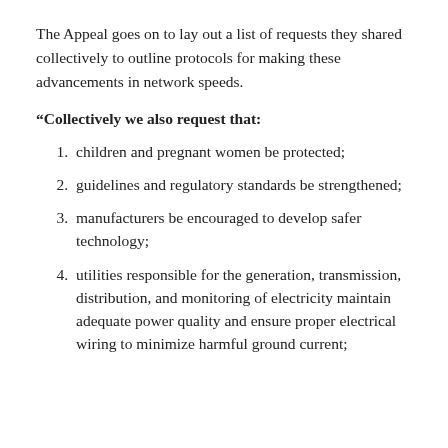The Appeal goes on to lay out a list of requests they shared collectively to outline protocols for making these advancements in network speeds.
“Collectively we also request that:
children and pregnant women be protected;
guidelines and regulatory standards be strengthened;
manufacturers be encouraged to develop safer technology;
utilities responsible for the generation, transmission, distribution, and monitoring of electricity maintain adequate power quality and ensure proper electrical wiring to minimize harmful ground current;